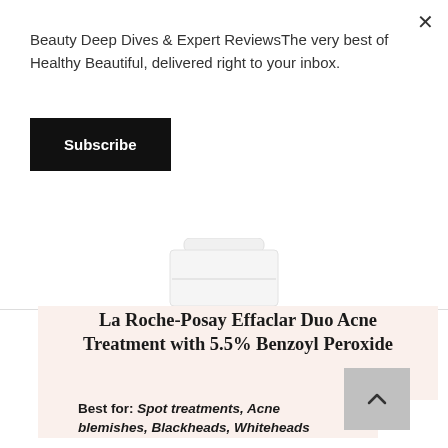Beauty Deep Dives & Expert ReviewsThe very best of Healthy Beautiful, delivered right to your inbox.
Subscribe
[Figure (photo): Bottom portion of a white skincare bottle/tube on white background]
La Roche-Posay Effaclar Duo Acne Treatment with 5.5% Benzoyl Peroxide
Best for: Spot treatments, Acne blemishes, Blackheads, Whiteheads